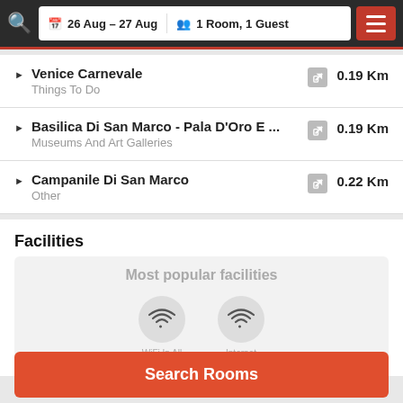26 Aug - 27 Aug  |  1 Room, 1 Guest
Venice Carnevale | Things To Do | 0.19 Km
Basilica Di San Marco - Pala D'Oro E ... | Museums And Art Galleries | 0.19 Km
Campanile Di San Marco | Other | 0.22 Km
Facilities
Most popular facilities
WiFi In All  Internet
Search Rooms